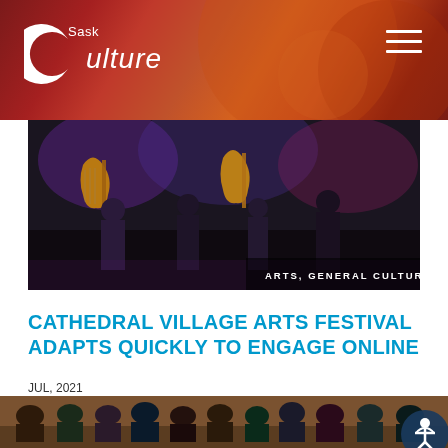SaskCulture
[Figure (photo): Band performing on stage with guitars, dark stage lighting with purple/blue tones. Tag reads ARTS, GENERAL CULTURE]
CATHEDRAL VILLAGE ARTS FESTIVAL ADAPTS QUICKLY TO ENGAGE ONLINE
JUL, 2021
[Figure (photo): Audience of students/youth seated in chairs in a gymnasium or community hall with brown walls, watching a presentation]